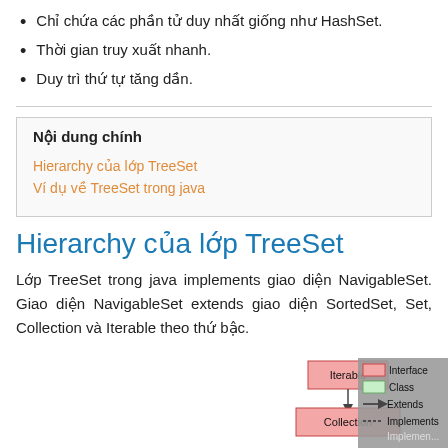Chỉ chứa các phần tử duy nhất giống như HashSet.
Thời gian truy xuất nhanh.
Duy trì thứ tự tăng dần.
Nội dung chính
Hierarchy của lớp TreeSet
Ví dụ về TreeSet trong java
Hierarchy của lớp TreeSet
Lớp TreeSet trong java implements giao diện NavigableSet. Giao diện NavigableSet extends giao diện SortedSet, Set, Collection và Iterable theo thứ bậc.
[Figure (engineering-diagram): UML class hierarchy diagram showing Iterable at top, with Collection below it, partially visible. A legend box on the right shows Interface (pink), Class (green), Extends arrow, Implements arrow.]